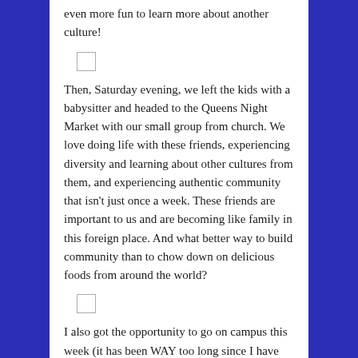even more fun to learn more about another culture!
[Figure (other): Small checkbox/image placeholder]
Then, Saturday evening, we left the kids with a babysitter and headed to the Queens Night Market with our small group from church. We love doing life with these friends, experiencing diversity and learning about other cultures from them, and experiencing authentic community that isn't just once a week. These friends are important to us and are becoming like family in this foreign place. And what better way to build community than to chow down on delicious foods from around the world?
[Figure (other): Small checkbox/image placeholder]
I also got the opportunity to go on campus this week (it has been WAY too long since I have done this) and had a great time doing some staff coaching, getting to share my story with a girl who is questioning whether she can lose her salvation, digging into scriptures, and learning more